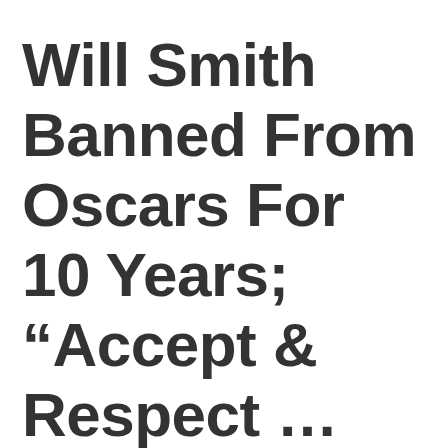Will Smith Banned From Oscars For 10 Years; “Accept & Respect … Decision,” Actor Says – Update